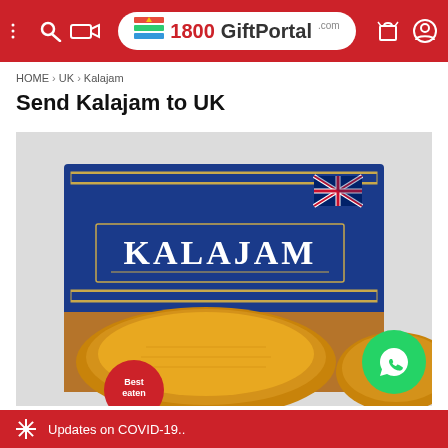1800GiftPortal
HOME > UK > Kalajam
Send Kalajam to UK
[Figure (photo): Product box of Kalajam with blue packaging, gold decorative border, UK flag in top right corner, text KALAJAM in white serif font, and food image of round golden-brown kalajam sweets on a plate. Red circular badge at bottom left says 'Best eaten'.]
Updates on COVID-19..